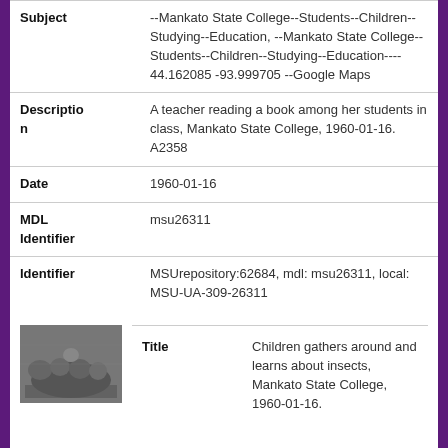| Field | Value |
| --- | --- |
| Subject | --Mankato State College--Students--Children--Studying--Education, --Mankato State College--Students--Children--Studying--Education---- 44.162085 -93.999705 --Google Maps |
| Description | A teacher reading a book among her students in class, Mankato State College, 1960-01-16. A2358 |
| Date | 1960-01-16 |
| MDL Identifier | msu26311 |
| Identifier | MSUrepository:62684, mdl: msu26311, local: MSU-UA-309-26311 |
[Figure (photo): Thumbnail black and white photo of children gathered around]
| Field | Value |
| --- | --- |
| Title | Children gathers around and learns about insects, Mankato State College, 1960-01-16. |